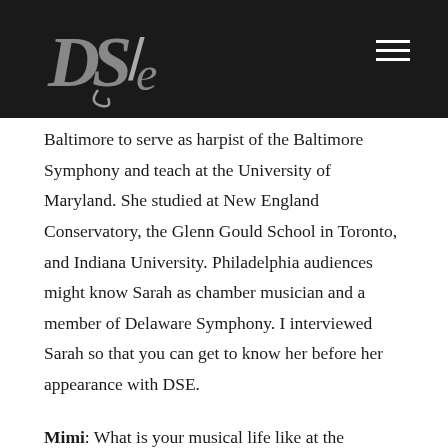DSE logo and navigation
Baltimore to serve as harpist of the Baltimore Symphony and teach at the University of Maryland. She studied at New England Conservatory, the Glenn Gould School in Toronto, and Indiana University. Philadelphia audiences might know Sarah as chamber musician and a member of Delaware Symphony. I interviewed Sarah so that you can get to know her before her appearance with DSE.
Mimi: What is your musical life like at the moment?
Sarah: I divide my time between playing with the Baltimore and Delaware Symphonies–performing the gamut of symphonic repertoire as well as fully staged opera and ballet productions, running the harp department at the University of Maryland, and